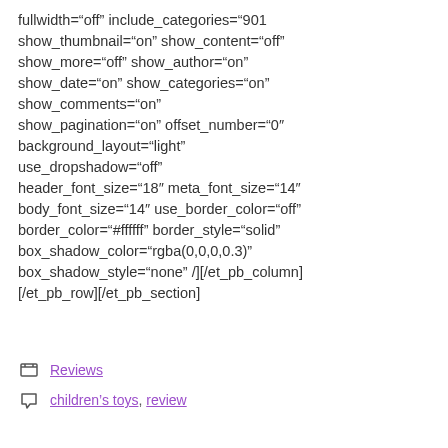fullwidth="off" include_categories="901" show_thumbnail="on" show_content="off" show_more="off" show_author="on" show_date="on" show_categories="on" show_comments="on" show_pagination="on" offset_number="0" background_layout="light" use_dropshadow="off" header_font_size="18" meta_font_size="14" body_font_size="14" use_border_color="off" border_color="#ffffff" border_style="solid" box_shadow_color="rgba(0,0,0,0.3)" box_shadow_style="none" /][/et_pb_column][/et_pb_row][/et_pb_section]
Reviews
children's toys, review